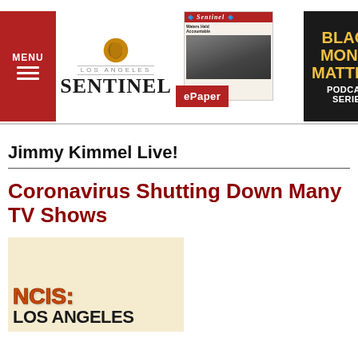MENU | LOS ANGELES SENTINEL | ePaper | BLACK MONEY MATTERS PODCAST SERIES
Jimmy Kimmel Live!
Coronavirus Shutting Down Many TV Shows
[Figure (photo): NCIS: Los Angeles show logo on a tan/beige background]